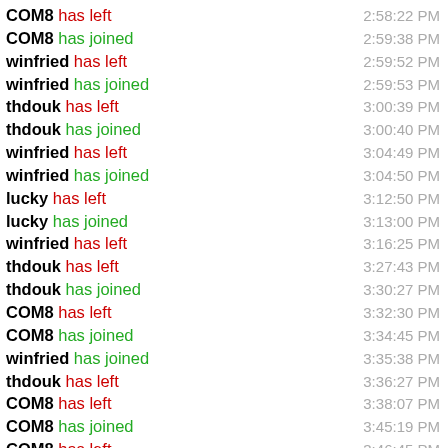COM8 has left  2:58:22 PM
COM8 has joined  2:59:38 PM
winfried has left  2:59:52 PM
winfried has joined  2:59:53 PM
thdouk has left  3:00:39 PM
thdouk has joined  3:00:40 PM
winfried has left  3:04:49 PM
winfried has joined  3:04:50 PM
lucky has left  3:12:50 PM
lucky has joined  3:13:00 PM
winfried has left  3:16:25 PM
thdouk has left  3:27:43 PM
thdouk has joined  3:30:27 PM
COM8 has left  3:32:30 PM
COM8 has joined  3:34:45 PM
winfried has joined  3:35:38 PM
thdouk has left  3:36:27 PM
COM8 has left  3:38:07 PM
COM8 has joined  3:45:19 PM
COM8 has left  3:46:45 PM
Zash has joined  3:52:23 PM
winfried has left  3:54:44 PM
winfried has joined  4:00:23 PM
thdouk has joined  4:05:17 PM
thdouk has left  4:14:17 PM